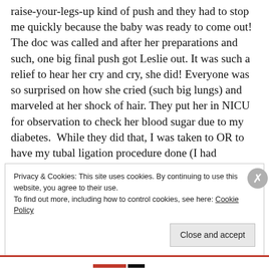raise-your-legs-up kind of push and they had to stop me quickly because the baby was ready to come out! The doc was called and after her preparations and such, one big final push got Leslie out. It was such a relief to hear her cry and cry, she did! Everyone was so surprised on how she cried (such big lungs) and marveled at her shock of hair. They put her in NICU for observation to check her blood sugar due to my diabetes.  While they did that, I was taken to OR to have my tubal ligation procedure done (I had requested it before delivery). This means Leslie is my
Privacy & Cookies: This site uses cookies. By continuing to use this website, you agree to their use.
To find out more, including how to control cookies, see here: Cookie Policy